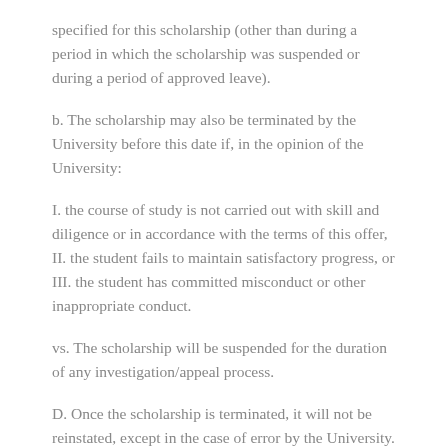specified for this scholarship (other than during a period in which the scholarship was suspended or during a period of approved leave).
b. The scholarship may also be terminated by the University before this date if, in the opinion of the University:
I. the course of study is not carried out with skill and diligence or in accordance with the terms of this offer,
II. the student fails to maintain satisfactory progress, or
III. the student has committed misconduct or other inappropriate conduct.
vs. The scholarship will be suspended for the duration of any investigation/appeal process.
D. Once the scholarship is terminated, it will not be reinstated, except in the case of error by the University.